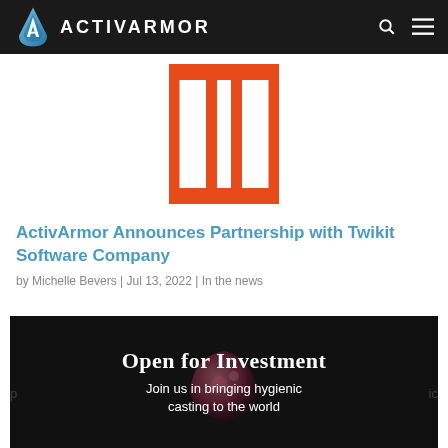ACTIVARMOR
[Figure (illustration): Red outlined window/calendar-like rectangular icon with three vertical sections on white background]
ActivArmor Announces Partnership with Twikit Software Company
by Michelle Bevers | Jul 13, 2022 | In the news
[Figure (photo): Dark banner image with text 'Open for Investment' and 'Join us in bringing hygienic casting to the world' with a pink/red blob graphic in the center]